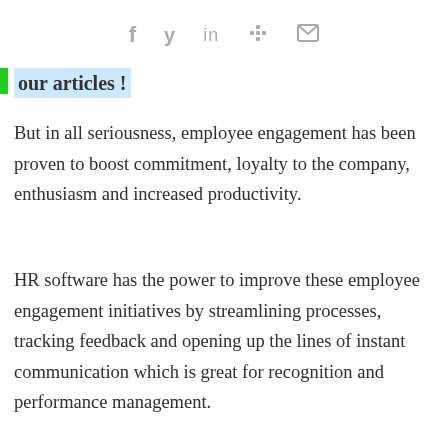f  y  in  slack  mail
our articles !
But in all seriousness, employee engagement has been proven to boost commitment, loyalty to the company, enthusiasm and increased productivity.
HR software has the power to improve these employee engagement initiatives by streamlining processes, tracking feedback and opening up the lines of instant communication which is great for recognition and performance management.